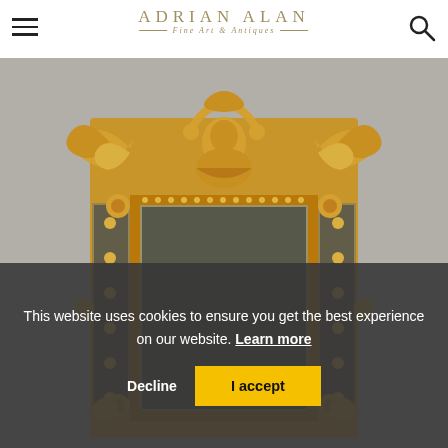ADRIAN ALAN Fine Art & Antiques
[Figure (photo): Ornate gilded mirror with elaborate carved frame featuring a female bust at top center, surrounded by scrolling acanthus leaves, flowers, and decorative elements. The mirror has a rectangular reflective center with beaded border details and additional small mirror panels on the sides. Background is grey.]
This website uses cookies to ensure you get the best experience on our website. Learn more
Decline  I accept